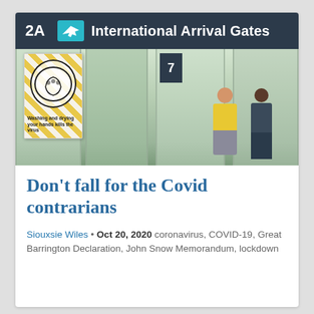[Figure (photo): Airport international arrival gates with a hand-washing advisory sign featuring yellow diagonal stripes and a circular handwashing icon. A sign reads 'Washing and drying your hands kills the virus'. People exit through glass doors underneath a dark banner reading '2A International Arrival Gates'.]
Don't fall for the Covid contrarians
Siouxsie Wiles • Oct 20, 2020 coronavirus, COVID-19, Great Barrington Declaration, John Snow Memorandum, lockdown